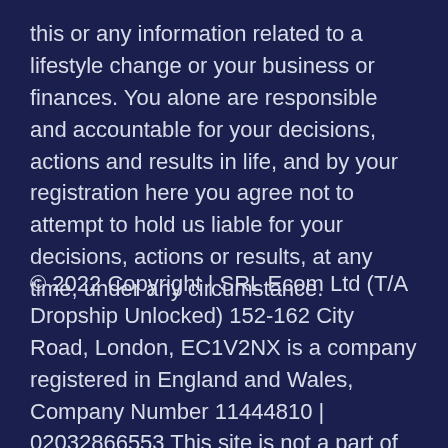this or any information related to a lifestyle change or your business or finances. You alone are responsible and accountable for your decisions, actions and results in life, and by your registration here you agree not to attempt to hold us liable for your decisions, actions or results, at any time, under any circumstance.
© 2022 Copyright | SRL Ecom Ltd (T/A Dropship Unlocked) 152-162 City Road, London, EC1V2NX is a company registered in England and Wales, Company Number 11444810 | 02032866553 This site is not a part of the Facebook™ website or Facebook™ Inc. Additionally, this site is not